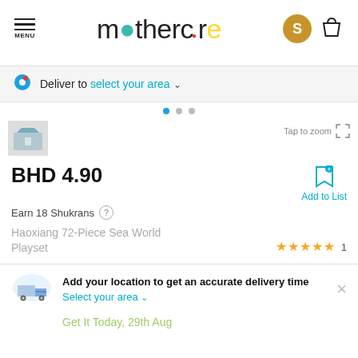[Figure (logo): Mothercare logo with colorful dots replacing letters: green circle for first 'o', red dot for 'e', yellow for 'a', with menu icon and account/bag icons in header]
Deliver to select your area ∨
[Figure (screenshot): Product image thumbnail with Tap to zoom icon]
BHD 4.90
Add to List
Earn 18 Shukrans
Haoxiang 72-Piece Sea World Playset
★★★★★ 1
Add your location to get an accurate delivery time
Select your area ∨
Get It Today, 29th Aug